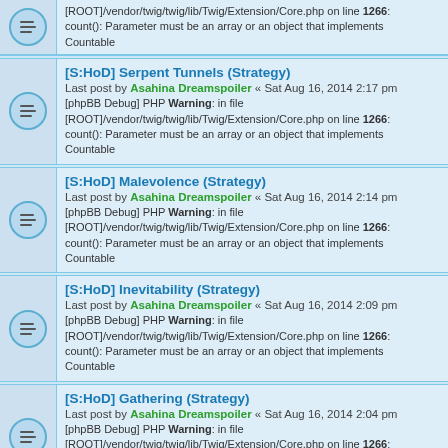[ROOT]/vendor/twig/twig/lib/Twig/Extension/Core.php on line 1266: count(): Parameter must be an array or an object that implements Countable
[S:HoD] Serpent Tunnels (Strategy)
Last post by Asahina Dreamspoiler « Sat Aug 16, 2014 2:17 pm
[phpBB Debug] PHP Warning: in file [ROOT]/vendor/twig/twig/lib/Twig/Extension/Core.php on line 1266: count(): Parameter must be an array or an object that implements Countable
[S:HoD] Malevolence (Strategy)
Last post by Asahina Dreamspoiler « Sat Aug 16, 2014 2:14 pm
[phpBB Debug] PHP Warning: in file [ROOT]/vendor/twig/twig/lib/Twig/Extension/Core.php on line 1266: count(): Parameter must be an array or an object that implements Countable
[S:HoD] Inevitability (Strategy)
Last post by Asahina Dreamspoiler « Sat Aug 16, 2014 2:09 pm
[phpBB Debug] PHP Warning: in file [ROOT]/vendor/twig/twig/lib/Twig/Extension/Core.php on line 1266: count(): Parameter must be an array or an object that implements Countable
[S:HoD] Gathering (Strategy)
Last post by Asahina Dreamspoiler « Sat Aug 16, 2014 2:04 pm
[phpBB Debug] PHP Warning: in file [ROOT]/vendor/twig/twig/lib/Twig/Extension/Core.php on line 1266: count(): Parameter must be an array or an object that implements Countable
[S:HoD] Cursed Resolve (Strategy)
Last post by Asahina Dreamspoiler « Sat Aug 16, 2014 2:00 pm
[phpBB Debug] PHP Warning: in file [ROOT]/vendor/twig/twig/lib/Twig/Extension/Core.php on line 1266: count(): Parameter must be an array or an object that implements Countable
[S:HoD] Corrupted Wildlife (Follower)